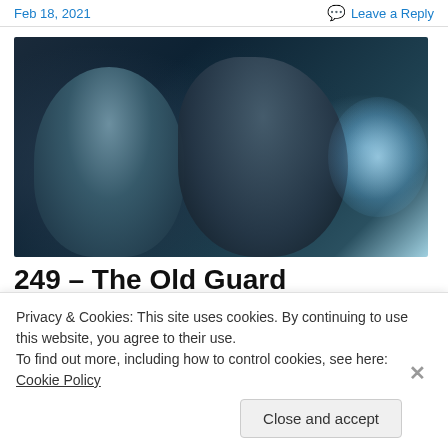Feb 18, 2021 | Leave a Reply
[Figure (photo): Dark moody film still showing two figures in low teal/blue lighting — a hooded figure on the left and a dark-haired woman in profile on the right, with bright blue-white light in the background]
249 – The Old Guard
Privacy & Cookies: This site uses cookies. By continuing to use this website, you agree to their use.
To find out more, including how to control cookies, see here: Cookie Policy
Close and accept